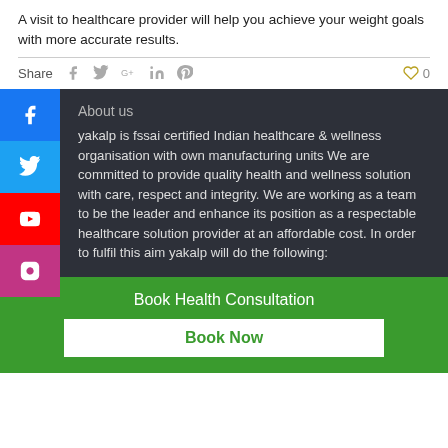A visit to healthcare provider will help you achieve your weight goals with more accurate results.
Share
About us
yakalp is fssai certified Indian healthcare & wellness organisation with own manufacturing units We are committed to provide quality health and wellness solution with care, respect and integrity. We are working as a team to be the leader and enhance its position as a respectable healthcare solution provider at an affordable cost. In order to fulfil this aim yakalp will do the following:
Book Health Consultation
Book Now